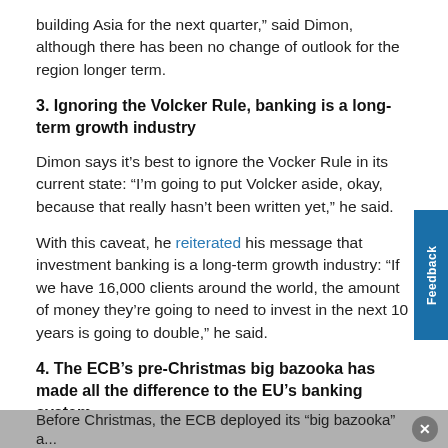building Asia for the next quarter,” said Dimon, although there has been no change of outlook for the region longer term.
3. Ignoring the Volcker Rule, banking is a long-term growth industry
Dimon says it’s best to ignore the Vocker Rule in its current state: “I’m going to put Volcker aside, okay, because that really hasn’t been written yet,” he said.
With this caveat, he reiterated his message that investment banking is a long-term growth industry: “If we have 16,000 clients around the world, the amount of money they’re going to need to invest in the next 10 years is going to double,” he said.
4. The ECB’s pre-Christmas big bazooka has made all the difference to the EU’s banking system
Before Christmas, the ECB deployed its “big bazooka” a...